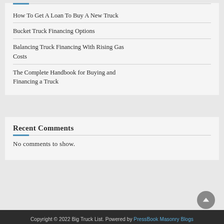How To Get A Loan To Buy A New Truck
Bucket Truck Financing Options
Balancing Truck Financing With Rising Gas Costs
The Complete Handbook for Buying and Financing a Truck
Recent Comments
No comments to show.
Copyright © 2022 Big Truck List. Powered by PressBook Masonry Blogs